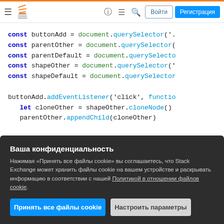Stack Overflow navigation bar with login and signup buttons
[Figure (screenshot): Code snippet showing JavaScript with const declarations and addEventListener with cloneNode and appendChild calls]
Ваша конфиденциальность
Нажимая «Принять все файлы cookie» вы соглашаетесь, что Stack Exchange может хранить файлы cookie на вашем устройстве и раскрывать информацию в соответствии с нашей Политикой в отношении файлов cookie.
Принять все файлы cookie
Настроить параметры